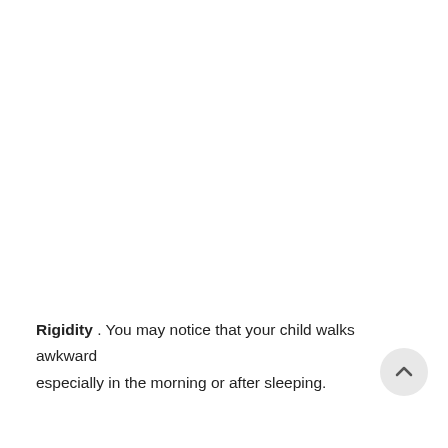Rigidity . You may notice that your child walks awkward especially in the morning or after sleeping.